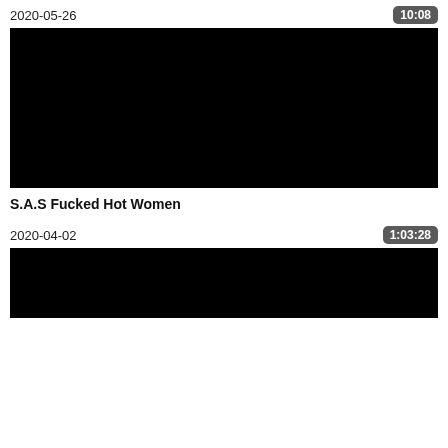2020-05-26
10:08
[Figure (photo): Black thumbnail image for video dated 2020-05-26]
S.A.S Fucked Hot Women
2020-04-02
1:03:28
[Figure (photo): Black thumbnail image for video dated 2020-04-02]